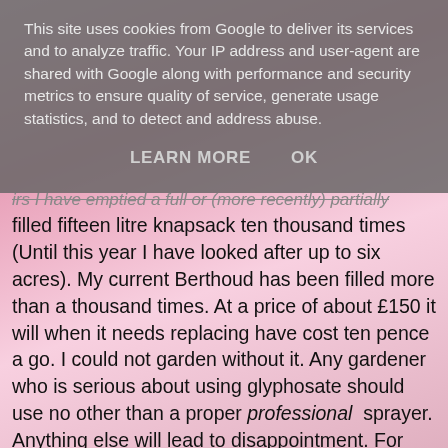This site uses cookies from Google to deliver its services and to analyze traffic. Your IP address and user-agent are shared with Google along with performance and security metrics to ensure quality of service, generate usage statistics, and to detect and address abuse.
LEARN MORE   OK
irs I have emptied a full or (more recently) partially filled fifteen litre knapsack ten thousand times (Until this year I have looked after up to six acres). My current Berthoud has been filled more than a thousand times. At a price of about £150 it will when it needs replacing have cost ten pence a go. I could not garden without it. Any gardener who is serious about using glyphosate should use no other than a proper professional sprayer. Anything else will lead to disappointment. For most gardeners a good sprayer will last lifetime.
PS If your garden really is pocket handkerchief use a hand sprayer and not a cheap knapsack! or hand weed!